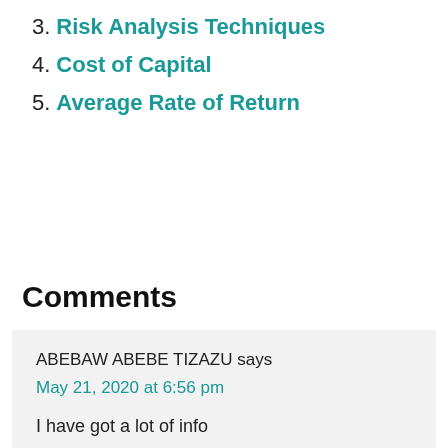3. Risk Analysis Techniques
4. Cost of Capital
5. Average Rate of Return
Comments
ABEBAW ABEBE TIZAZU says
May 21, 2020 at 6:56 pm
I have got a lot of info